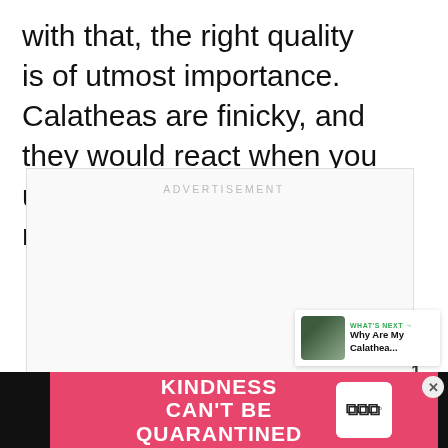with that, the right quality is of utmost importance. Calatheas are finicky, and they would react when you use water containing hard minerals.
[Figure (infographic): Advertisement placeholder box with 'ADVERTISEMENT' label, a heart/like button (green circle, count of 1), a share button, and a 'What's Next' preview card for 'Why Are My Calathea...' article]
[Figure (infographic): Bottom advertisement banner with pink background showing 'KINDNESS CAN'T BE QUARANTINED' text on dark background strip with close button and logo]